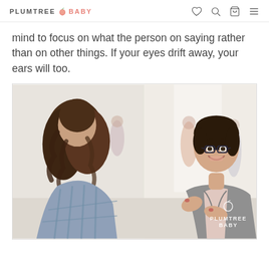PLUMTREE BABY
mind to focus on what the person on saying rather than on other things. If your eyes drift away, your ears will too.
[Figure (photo): Two women having a conversation in a bright indoor setting. The woman facing the camera is wearing glasses and a gray blazer, smiling and gesturing with her hands. The other woman has curly hair and is wearing a plaid shirt, seen from behind. Several people are visible in the blurred background. A Plumtree Baby watermark appears in the bottom right corner.]